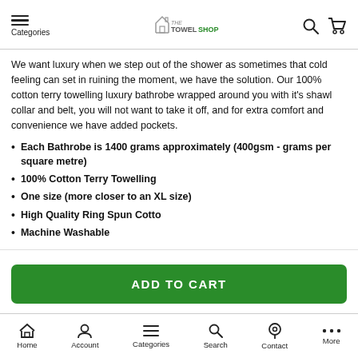Categories | The Towel Shop
We want luxury when we step out of the shower as sometimes that cold feeling can set in ruining the moment, we have the solution. Our 100% cotton terry towelling luxury bathrobe wrapped around you with it's shawl collar and belt, you will not want to take it off, and for extra comfort and convenience we have added pockets.
Each Bathrobe is 1400 grams approximately (400gsm - grams per square metre)
100% Cotton Terry Towelling
One size (more closer to an XL size)
High Quality Ring Spun Cotto
Machine Washable
ADD TO CART
Home | Account | Categories | Search | Contact | More